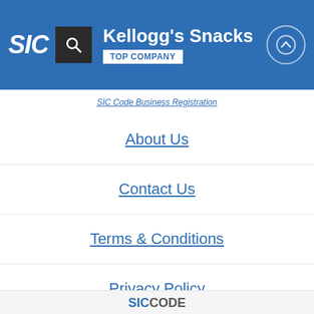SIC | Kellogg's Snacks | TOP COMPANY
SIC Code Business Registration
About Us
Contact Us
Terms & Conditions
Privacy Policy
Blog
SICCODE